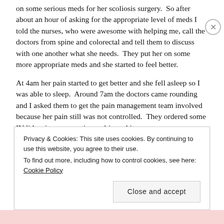on some serious meds for her scoliosis surgery.  So after about an hour of asking for the appropriate level of meds I told the nurses, who were awesome with helping me, call the doctors from spine and colorectal and tell them to discuss with one another what she needs.  They put her on some more appropriate meds and she started to feel better.
At 4am her pain started to get better and she fell asleep so I was able to sleep.  Around 7am the doctors came rounding and I asked them to get the pain management team involved because her pain still was not controlled.  They ordered some IV lidocaine as a continous drip and it
Privacy & Cookies: This site uses cookies. By continuing to use this website, you agree to their use.
To find out more, including how to control cookies, see here: Cookie Policy
Close and accept